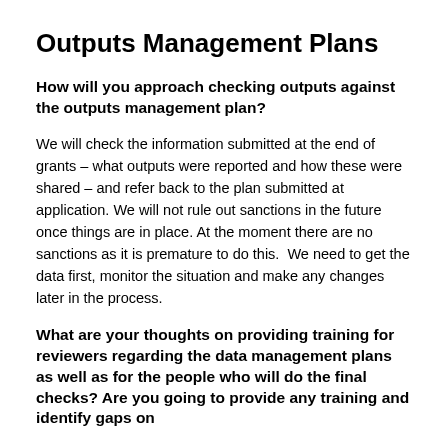Outputs Management Plans
How will you approach checking outputs against the outputs management plan?
We will check the information submitted at the end of grants – what outputs were reported and how these were shared – and refer back to the plan submitted at application. We will not rule out sanctions in the future once things are in place. At the moment there are no sanctions as it is premature to do this.  We need to get the data first, monitor the situation and make any changes later in the process.
What are your thoughts on providing training for reviewers regarding the data management plans as well as for the people who will do the final checks? Are you going to provide any training and identify gaps on